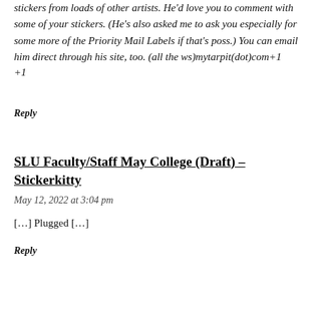stickers from loads of other artists. He'd love you to comment with some of your stickers. (He's also asked me to ask you especially for some more of the Priority Mail Labels if that's poss.) You can email him direct through his site, too. (all the ws)mytarpit(dot)com+1
+1
Reply
SLU Faculty/Staff May College (Draft) – Stickerkitty
May 12, 2022 at 3:04 pm
[…] Plugged […]
Reply